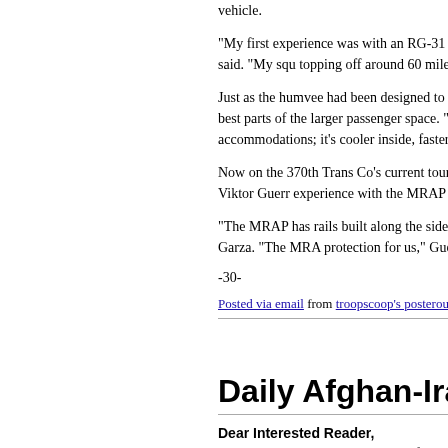vehicle.
"My first experience was with an RG-31 MRA compared to our humvees," he said. "My squ topping off around 60 miles per hour."
Just as the humvee had been designed to fit a on the block. It combined the best parts of the larger passenger space. "Driving, I felt a lot sa accommodations; it's cooler inside, faster and
Now on the 370th Trans Co's current tour, the humvees. For Soldiers like Spc. Viktor Guerr experience with the MRAP than of the humve
"The MRAP has rails built along the sides for mission requirements," said Garza. "The MRA protection for us," Guerrero said.
-30-
Posted via email from troopscoop's posterous
Daily Afghan-Iraq Updat
Dear Interested Reader,
USACE creates a new opportunity for joint co weapons cache.  Malaysian medical team deli